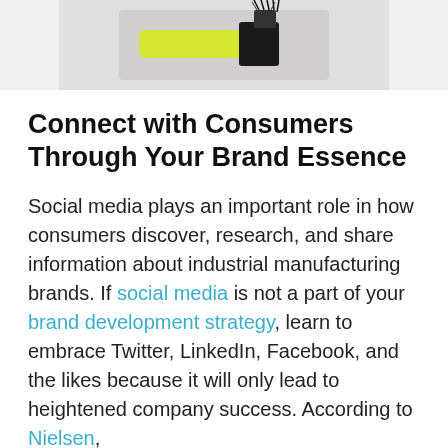[Figure (photo): Partial photo of an object with yellow and black coloring, likely a tool or industrial equipment, cropped at the top of the page.]
Connect with Consumers Through Your Brand Essence
Social media plays an important role in how consumers discover, research, and share information about industrial manufacturing brands. If social media is not a part of your brand development strategy, learn to embrace Twitter, LinkedIn, Facebook, and the likes because it will only lead to heightened company success. According to Nielsen,